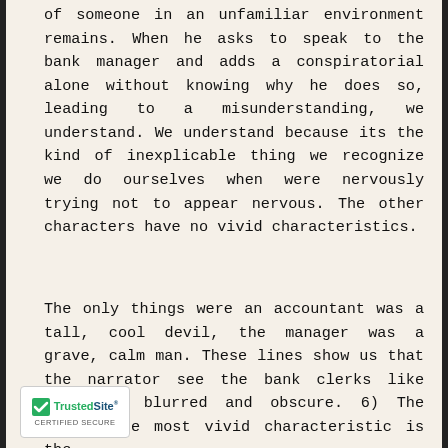of someone in an unfamiliar environment remains. When he asks to speak to the bank manager and adds a conspiratorial alone without knowing why he does so, leading to a misunderstanding, we understand. We understand because its the kind of inexplicable thing we recognize we do ourselves when were nervously trying not to appear nervous. The other characters have no vivid characteristics.
The only things were an accountant was a tall, cool devil, the manager was a grave, calm man. These lines show us that the narrator see the bank clerks like something blurred and obscure. 6) The style. The most vivid characteristic is the 1st person perspective. Stephen ses the first-person perspective in his
[Figure (logo): TrustedSite CERTIFIED SECURE badge with green checkmark]